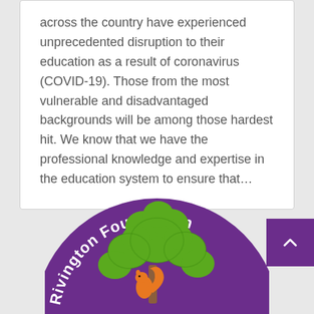across the country have experienced unprecedented disruption to their education as a result of coronavirus (COVID-19). Those from the most vulnerable and disadvantaged backgrounds will be among those hardest hit. We know that we have the professional knowledge and expertise in the education system to ensure that…
[Figure (logo): Rivington Foundation circular logo — purple circle with white curved text 'Rivington Foundation' along the top arc, a green illustrated tree with many leaf clusters, an orange squirrel at the base of the tree trunk, on a purple background.]